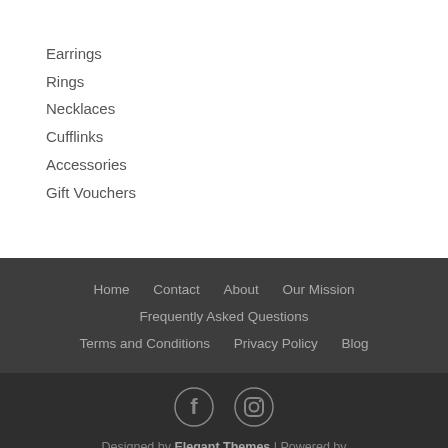Earrings
Rings
Necklaces
Cufflinks
Accessories
Gift Vouchers
Home  Contact  About  Our Mission  Frequently Asked Questions  Terms and Conditions  Privacy Policy  Blog
Designed by Elegant Themes | Powered by WordPress